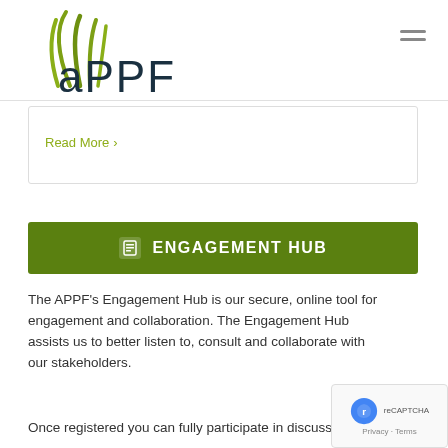[Figure (logo): APPF logo with green curved grass-like graphic above stylized 'aPPF' text in dark teal]
Read More >
ENGAGEMENT HUB
The APPF's Engagement Hub is our secure, online tool for engagement and collaboration. The Engagement Hub assists us to better listen to, consult and collaborate with our stakeholders.
Once registered you can fully participate in discussions